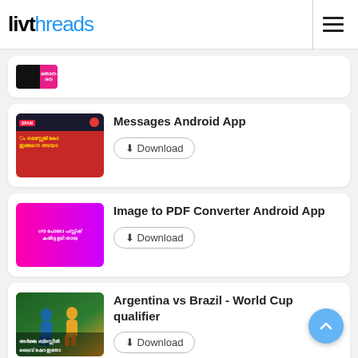livthreads
[Figure (screenshot): Partial card with black and pink thumbnail - truncated at top]
Messages Android App
Download
Image to PDF Converter Android App
Download
Argentina vs Brazil - World Cup qualifier
Download